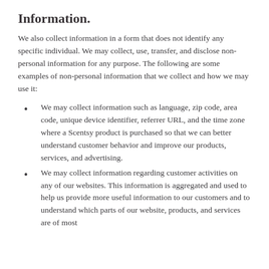Information.
We also collect information in a form that does not identify any specific individual. We may collect, use, transfer, and disclose non-personal information for any purpose. The following are some examples of non-personal information that we collect and how we may use it:
We may collect information such as language, zip code, area code, unique device identifier, referrer URL, and the time zone where a Scentsy product is purchased so that we can better understand customer behavior and improve our products, services, and advertising.
We may collect information regarding customer activities on any of our websites. This information is aggregated and used to help us provide more useful information to our customers and to understand which parts of our website, products, and services are of most